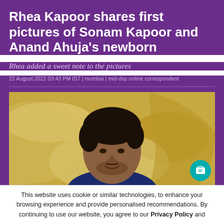Rhea Kapoor shares first pictures of Sonam Kapoor and Anand Ahuja's newborn
Rhea added a sweet note to the pictures
22 August,2022 03:43 PM IST | mumbai | mid-day online correspondent
[Figure (photo): A man with dark hair smiling, photographed against a gold/cream abstract background]
This website uses cookie or similar technologies, to enhance your browsing experience and provide personalised recommendations. By continuing to use our website, you agree to our Privacy Policy and